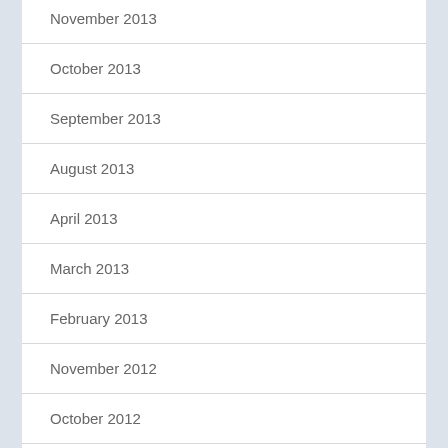November 2013
October 2013
September 2013
August 2013
April 2013
March 2013
February 2013
November 2012
October 2012
July 2012